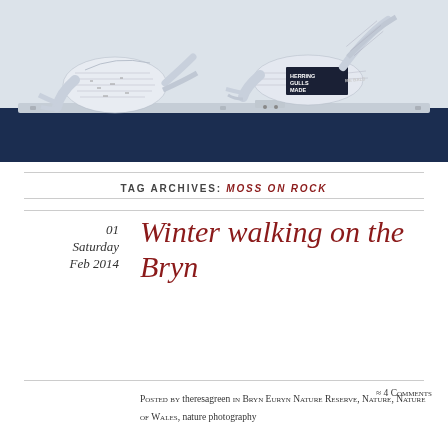[Figure (photo): Two bird sculptures made from newspaper, perched on a white metal rail against a dark navy blue base. The birds appear to be gulls crafted from newsprint with visible text. One bird on the left faces left with beak open, the other on the right faces left with wings spread slightly.]
TAG ARCHIVES: MOSS ON ROCK
Winter walking on the Bryn
01 Saturday Feb 2014
Posted by theresagreen in Bryn Euryn Nature Reserve, Nature, Nature of Wales, nature photography ≈ 4 Comments